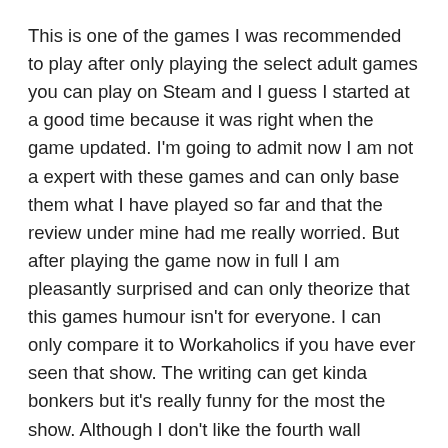This is one of the games I was recommended to play after only playing the select adult games you can play on Steam and I guess I started at a good time because it was right when the game updated. I'm going to admit now I am not a expert with these games and can only base them what I have played so far and that the review under mine had me really worried. But after playing the game now in full I am pleasantly surprised and can only theorize that this games humour isn't for everyone. I can only compare it to Workaholics if you have ever seen that show. The writing can get kinda bonkers but it's really funny for the most the show. Although I don't like the fourth wall breaking but in the update they only had like one of them so it was perfectly OK. LEGO STAR WARS: The Force Awakens